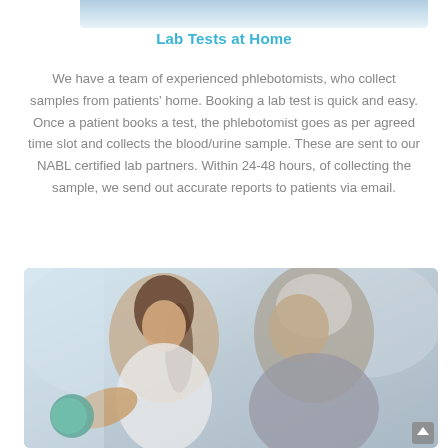[Figure (photo): Partial view of a photo at top showing what appears to be a person's arm and clothing, cropped at the top of the page]
Lab Tests at Home
We have a team of experienced phlebotomists, who collect samples from patients' home. Booking a lab test is quick and easy. Once a patient books a test, the phlebotomist goes as per agreed time slot and collects the blood/urine sample. These are sent to our NABL certified lab partners. Within 24-48 hours, of collecting the sample, we send out accurate reports to patients via email.
[Figure (photo): A young female healthcare worker assists an elderly man with a dumbbell exercise. The woman has brown hair and is wearing a white top; the older man has white hair and is wearing a gray shirt. They appear to be in a clinical or home rehabilitation setting.]